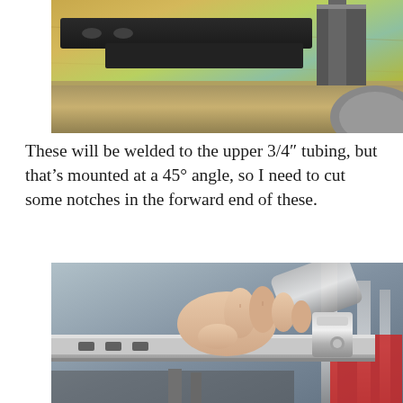[Figure (photo): Close-up photo of metal fabrication parts: a black steel bracket with oval holes on a golden/iridescent metal surface, with a square metal tab visible.]
These will be welded to the upper 3/4″ tubing, but that's mounted at a 45° angle, so I need to cut some notches in the forward end of these.
[Figure (photo): Photo of a hand holding a metal bracket/track against a chrome tubular frame structure of what appears to be a vehicle or machine, showing the fitting process.]